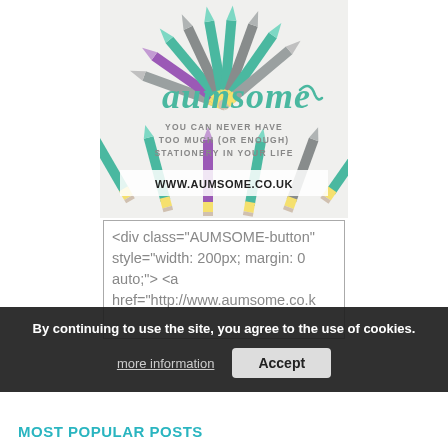[Figure (illustration): Aumsome stationery brand banner with colorful pencils arranged in a fan/starburst pattern, cursive teal 'aumsome' logo text, subtitle 'YOU CAN NEVER HAVE TOO MUCH (OR ENOUGH) STATIONERY IN YOUR LIFE', and URL www.aumsome.co.uk]
<div class="AUMSOME-button" style="width: 200px; margin: 0 auto;"> <a href="http://www.aumsome.co.k ...
By continuing to use the site, you agree to the use of cookies.
more information
Accept
MOST POPULAR POSTS